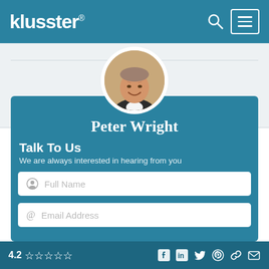klusster®
[Figure (photo): Profile photo of Peter Wright, a smiling middle-aged man with gray hair, wearing a dark blazer and white shirt, in a circular frame]
Peter Wright
Talk To Us
We are always interested in hearing from you
Full Name
Email Address
4.2 ☆☆☆☆☆